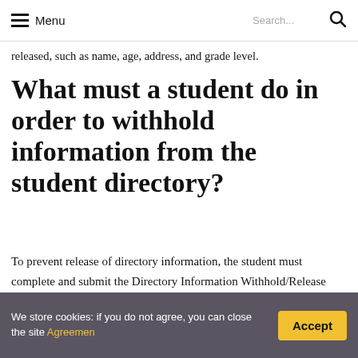Menu  Search...
released, such as name, age, address, and grade level.
What must a student do in order to withhold information from the student directory?
To prevent release of directory information, the student must complete and submit the Directory Information Withhold/Release Form (pdf) on or before the census date of each session or semester (the 12th class day in the fall
We store cookies: if you do not agree, you can close the site Agreemen  Accept